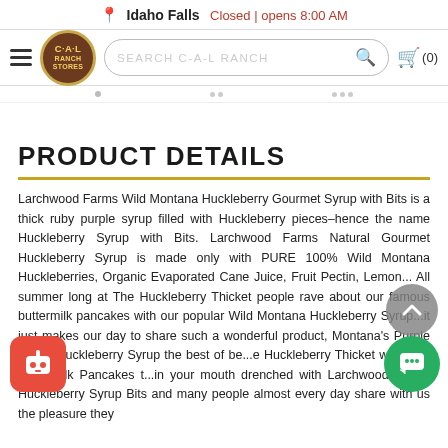Idaho Falls  Closed | opens 8:00 AM
[Figure (screenshot): C-A-L Ranch Stores navigation bar with hamburger menu, logo, search bar 'SEARCH C-A-L RANCH', and cart icon (0)]
PRODUCT DETAILS
Larchwood Farms Wild Montana Huckleberry Gourmet Syrup with Bits is a thick ruby purple syrup filled with Huckleberry pieces–hence the name Huckleberry Syrup with Bits. Larchwood Farms Natural Gourmet Huckleberry Syrup is made only with PURE 100% Wild Montana Huckleberries, Organic Evaporated Cane Juice, Fruit Pectin, Lemon... All summer long at The Huckleberry Thicket people rave about our famous buttermilk pancakes with our popular Wild Montana Huckleberry Syrup...it just makes our day to share such a wonderful product, Montana's Purple Gold!" Huckleberry Syrup the best of be... e Huckleberry Thicket we serve Buttermilk Pancakes t... in your mouth drenched with Larchwood Farms Huckleberry Syrup Bits and many people almost every day share with us the pleasure they h...